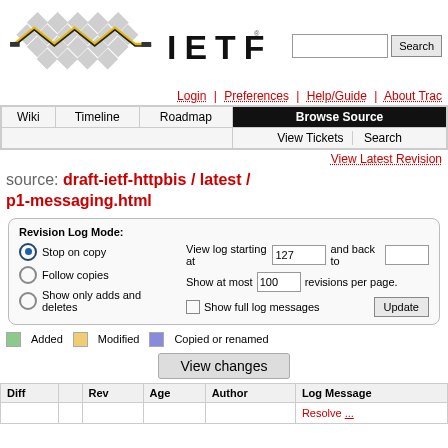[Figure (logo): IETF logo with diamond pattern and zigzag gold/black lines, followed by IETF text in large bold letters]
Login | Preferences | Help/Guide | About Trac
Wiki | Timeline | Roadmap | Browse Source | View Tickets | Search
View Latest Revision
source: draft-ietf-httpbis / latest / p1-messaging.html
Revision Log Mode: Stop on copy | Follow copies | Show only adds and deletes | View log starting at 127 and back to | Show at most 100 revisions per page. | Show full log messages | Update
Added  Modified  Copied or renamed
View changes
| Diff |  | Rev | Age | Author | Log Message |
| --- | --- | --- | --- | --- | --- |
|  |  |  |  |  |  |